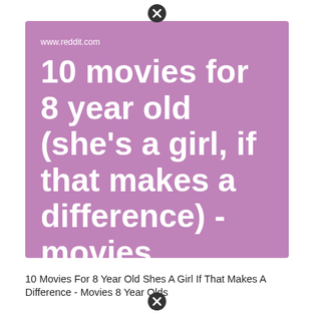www.reddit.com
10 movies for 8 year old (she's a girl, if that makes a difference) - movies
10 Movies For 8 Year Old Shes A Girl If That Makes A Difference - Movies 8 Year Olds